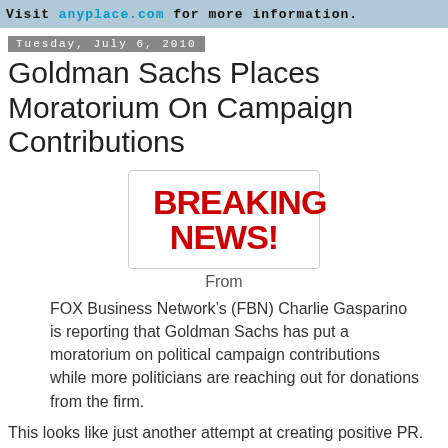Visit anyplace.com for more information.
Tuesday, July 6, 2010
Goldman Sachs Places Moratorium On Campaign Contributions
[Figure (illustration): BREAKING NEWS! graphic in bold red text inside a rounded rectangle border]
From
FOX Business Network’s (FBN) Charlie Gasparino is reporting that Goldman Sachs has put a moratorium on political campaign contributions while more politicians are reaching out for donations from the firm.
This looks like just another attempt at creating positive PR. The moratorium is just until the financial reform laws are passed. So, if financial reform happens tomorrow, then the moratorium is lifted. However, this new report by Charlie G...